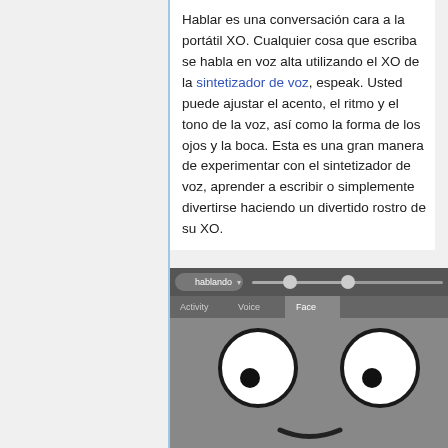Hablar es una conversación cara a la portátil XO. Cualquier cosa que escriba se habla en voz alta utilizando el XO de la sintetizador de voz, espeak. Usted puede ajustar el acento, el ritmo y el tono de la voz, así como la forma de los ojos y la boca. Esta es una gran manera de experimentar con el sintetizador de voz, aprender a escribir o simplemente divertirse haciendo un divertido rostro de su XO.
[Figure (screenshot): Screenshot of the XO Hablar activity showing the Face tab with an animated XO face with large cartoon eyes and a mouth, and a toolbar with Activity, Voice, and Face tabs plus a slider control.]